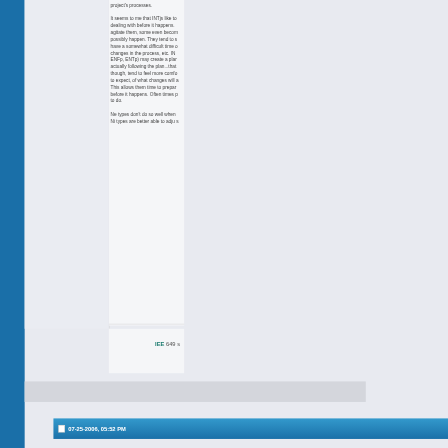project's processes. It seems to me that INTjs like to dealing with before it happens. agitate them, some even becom possibly happen. They tend to s have a somewhat difficult time o changes in the process, etc. IN ENFp, ENTp) may create a plar actually following the plan...that though, tend to feel more comfo to expect, of what changes will This allows them time to prepar before it happens. Often times p to do.
Ne types don't do so well when Ni types are better able to adju s
IEE 649 s
07-25-2006, 05:52 PM